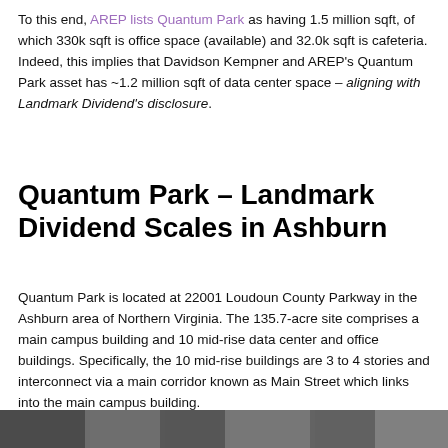To this end, AREP lists Quantum Park as having 1.5 million sqft, of which 330k sqft is office space (available) and 32.0k sqft is cafeteria. Indeed, this implies that Davidson Kempner and AREP's Quantum Park asset has ~1.2 million sqft of data center space – aligning with Landmark Dividend's disclosure.
Quantum Park – Landmark Dividend Scales in Ashburn
Quantum Park is located at 22001 Loudoun County Parkway in the Ashburn area of Northern Virginia. The 135.7-acre site comprises a main campus building and 10 mid-rise data center and office buildings. Specifically, the 10 mid-rise buildings are 3 to 4 stories and interconnect via a main corridor known as Main Street which links into the main campus building.
[Figure (photo): Aerial/ground-level photograph strip of Quantum Park buildings in Ashburn, Virginia, shown in grayscale.]